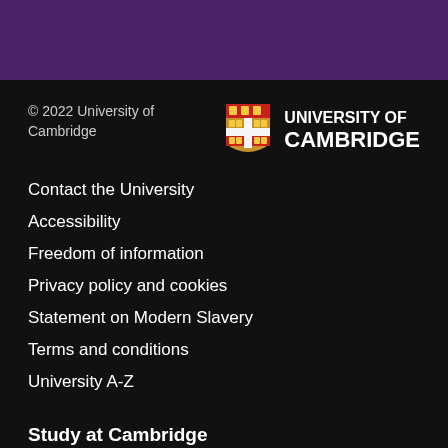© 2022 University of Cambridge
[Figure (logo): University of Cambridge shield logo with text UNIVERSITY OF CAMBRIDGE]
Contact the University
Accessibility
Freedom of information
Privacy policy and cookies
Statement on Modern Slavery
Terms and conditions
University A-Z
Study at Cambridge